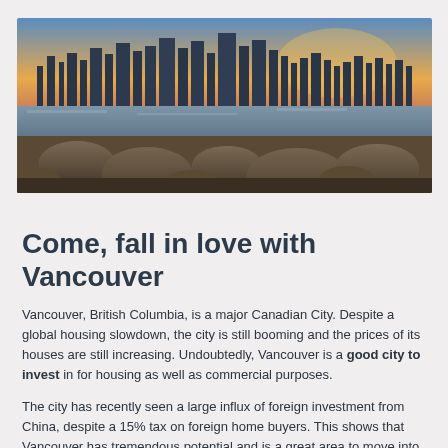[Figure (photo): Panoramic photo of Vancouver, British Columbia skyline at sunset, with rocks and water in the foreground and city buildings in the background under a golden sky.]
Come, fall in love with Vancouver
Vancouver, British Columbia, is a major Canadian City. Despite a global housing slowdown, the city is still booming and the prices of its houses are still increasing. Undoubtedly, Vancouver is a good city to invest in for housing as well as commercial purposes.
The city has recently seen a large influx of foreign investment from China, despite a 15% tax on foreign home buyers. This shows that Vancouver has tremendous potential and is a great area to move into. Current Vancouver MLS statistics indicate an average